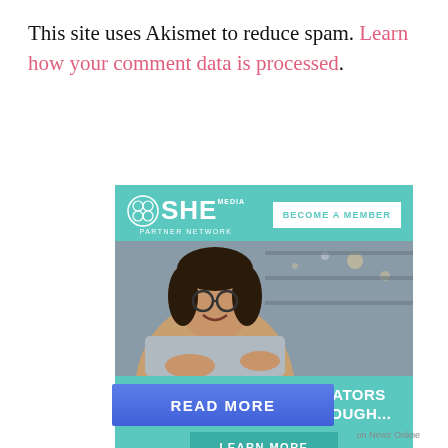This site uses Akismet to reduce spam. Learn how your comment data is processed.
[Figure (illustration): SHE Media Partner Network advertisement banner. Shows logo, 'BECOME A MEMBER' button, photo of smiling woman with laptop, and text 'WE HELP CONTENT CREATORS GROW BUSINESSES THROUGH...' with a 'LEARN MORE' button on teal background.]
READ MORE
on Newz Online